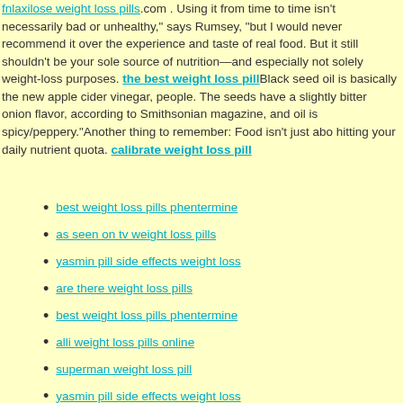fnlaxilose weight loss pills.com . Using it from time to time isn't necessarily bad or unhealthy, says Rumsey, but I would never recommend it over the experience and taste of real food. But it still shouldn't be your sole source of nutrition—and especially not solely weight-loss purposes. the best weight loss pill Black seed oil is basically the new apple cider vinegar, people. The seeds have a slightly bitter onion flavor, according to Smithsonian magazine, and oil is spicy/peppery. Another thing to remember: Food isn't just about hitting your daily nutrient quota. calibrate weight loss pill
best weight loss pills phentermine
as seen on tv weight loss pills
yasmin pill side effects weight loss
are there weight loss pills
best weight loss pills phentermine
alli weight loss pills online
superman weight loss pill
yasmin pill side effects weight loss
purely inspired probiotics and weight loss pills
apple cider vinegar weight loss pills walmart
can you take weight loss pills with antidepressants
are there any weight loss pills that really work
prescription weight loss pills